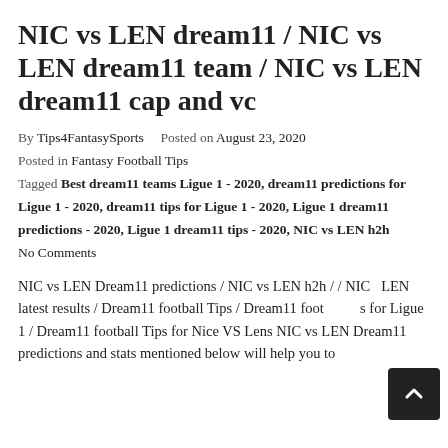NIC vs LEN dream11 / NIC vs LEN dream11 team / NIC vs LEN dream11 cap and vc
By Tips4FantasySports   Posted on August 23, 2020
Posted in Fantasy Football Tips
Tagged Best dream11 teams Ligue 1 - 2020, dream11 predictions for Ligue 1 - 2020, dream11 tips for Ligue 1 - 2020, Ligue 1 dream11 predictions - 2020, Ligue 1 dream11 tips - 2020, NIC vs LEN h2h
No Comments
NIC vs LEN Dream11 predictions / NIC vs LEN h2h / / NIC LEN latest results / Dream11 football Tips / Dream11 football Tips for Ligue 1 / Dream11 football Tips for Nice VS Lens NIC vs LEN Dream11 predictions and stats mentioned below will help you to